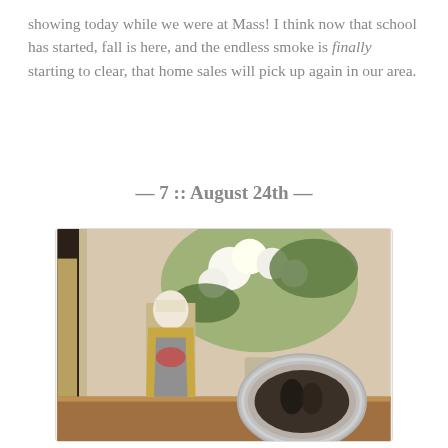showing today while we were at Mass! I think now that school has started, fall is here, and the endless smoke is finally starting to clear, that home sales will pick up again in our area.
— 7 :: August 24th —
[Figure (photo): A decorative shelf or table scene showing a Catholic saint figurine (nun in yellow and grey robes holding flowers), a large floral arrangement of white roses and greenery in a vase, and a silver ornate oval picture frame containing a wedding photo of a couple. A mirror reflection is partially visible on the left.]